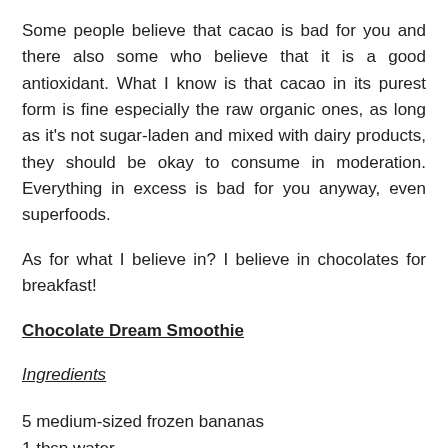Some people believe that cacao is bad for you and there also some who believe that it is a good antioxidant. What I know is that cacao in its purest form is fine especially the raw organic ones, as long as it's not sugar-laden and mixed with dairy products, they should be okay to consume in moderation. Everything in excess is bad for you anyway, even superfoods.
As for what I believe in? I believe in chocolates for breakfast!
Chocolate Dream Smoothie
Ingredients
5 medium-sized frozen bananas
1 tbsp water
1 tbsp cacao powder
* Toppings and †† cacao drizzles optional (just go crazy!)